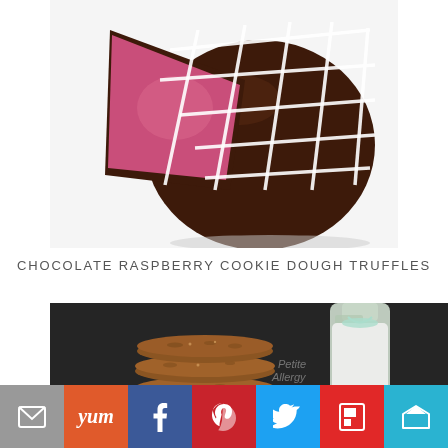[Figure (photo): A chocolate truffle coated in dark chocolate with white icing drizzle on top, cut open to reveal a pink raspberry cookie dough interior, on a white background.]
CHOCOLATE RASPBERRY COOKIE DOUGH TRUFFLES
[Figure (photo): Stack of golden-brown cookies on a dark background next to a small glass milk bottle with a mint green ribbon, watermarked with 'Petite Allergy Treats'.]
[Figure (infographic): Social sharing bar with buttons: email (grey), Yummly (orange), Facebook (dark blue), Pinterest (red), Twitter (light blue), Flipboard (red), and a crown icon (teal).]